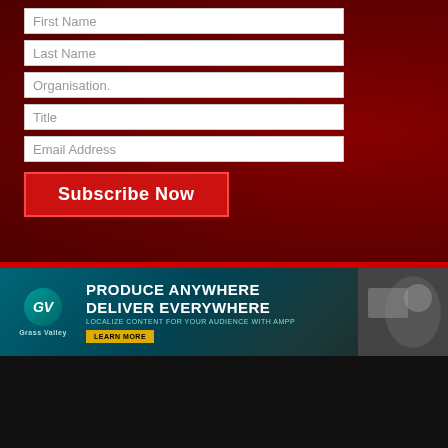[Figure (screenshot): A subscription form on a dark red background with fields for First Name, Last Name, Organisation, Title, Email Address, and a Subscribe Now button]
[Figure (infographic): Grass Valley advertisement banner: 'Produce Anywhere Deliver Everywhere – Localize content for your audience with AMPP – Learn More']
© 2022 Sports Video Group. All rights reserved.
Site by Brightgreen Design/ Arturan/ Sfera Interact
[Figure (other): Social media icons row: Facebook, Twitter, LinkedIn, Email]
SVG Forum App | Become a Sponsor